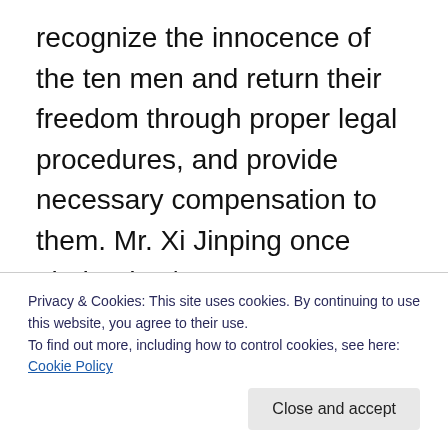recognize the innocence of the ten men and return their freedom through proper legal procedures, and provide necessary compensation to them. Mr. Xi Jinping once pledged to “carry out judiciary justice in each and every individual case,” and we hold him to his word. We will watch every detail in the development of this case concerning the ten men arrested for advocating asset disclosure by officials to see if that pledge was made in good faith. We will then decide whether we can pay any respect at all to the relevant authorities. We thereby urge the relevant authorities: The trial of the ten citizens must
Privacy & Cookies: This site uses cookies. By continuing to use this website, you agree to their use.
To find out more, including how to control cookies, see here: Cookie Policy